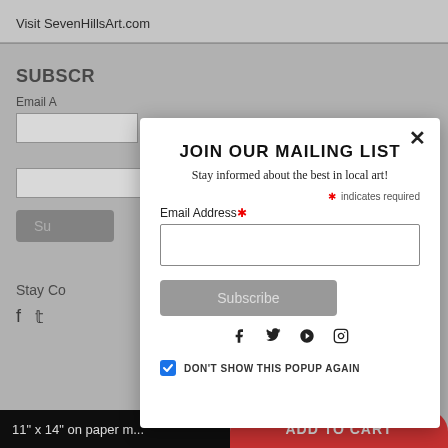Visit SevenHillsArt.com
SUBSCR...
Email A...
indicated required
Su...
Stay Co...
[Figure (screenshot): Modal popup: JOIN OUR MAILING LIST with email input, subscribe button, social icons (Facebook, Twitter, Pinterest, Instagram), and checkbox 'DON'T SHOW THIS POPUP AGAIN']
11" x 14" on paper m...
ADD TO CART